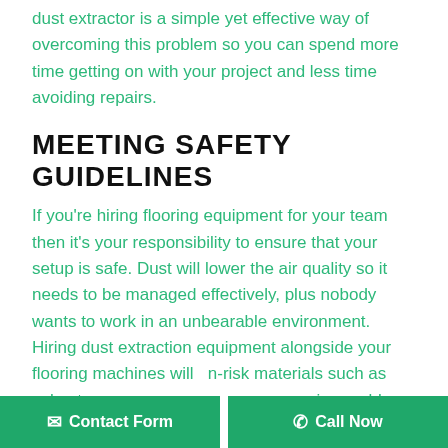dust extractor is a simple yet effective way of overcoming this problem so you can spend more time getting on with your project and less time avoiding repairs.
MEETING SAFETY GUIDELINES
If you're hiring flooring equipment for your team then it's your responsibility to ensure that your setup is safe. Dust will lower the air quality so it needs to be managed effectively, plus nobody wants to work in an unbearable environment. Hiring dust extraction equipment alongside your flooring machines will [handle h]-risk materials such as asbestos a[nd stop them from] causing problems and ensure that you're in line with safety guidelines.
At [Concept Flooring Technology we] provide...
✉ Contact Form   ✆ Call Now